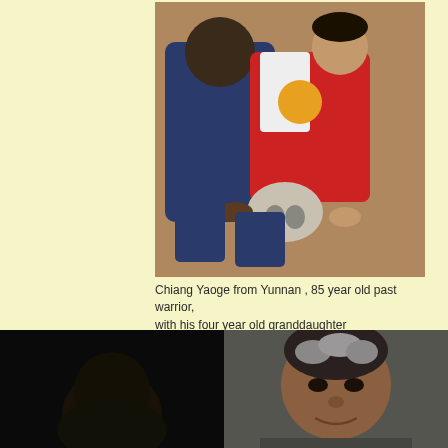[Figure (photo): An elderly man in blue clothing and a child in a red and white jacket holding a skull-like object, sitting together.]
Chiang Yaoge from Yunnan , 85 year old past warrior, with his four year old granddaughter
[Figure (photo): Two people shown side by side: left side is very dark/shadowed showing a person's head, right side shows a middle-aged man with grey hair smiling at the camera.]